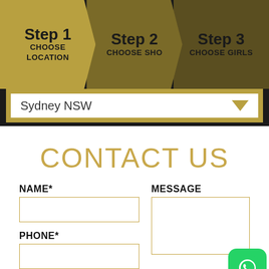Step 1 CHOOSE LOCATION
Step 2 CHOOSE SHO
Step 3 CHOOSE GIRLS
Sydney NSW
CONTACT US
NAME*
MESSAGE
PHONE*